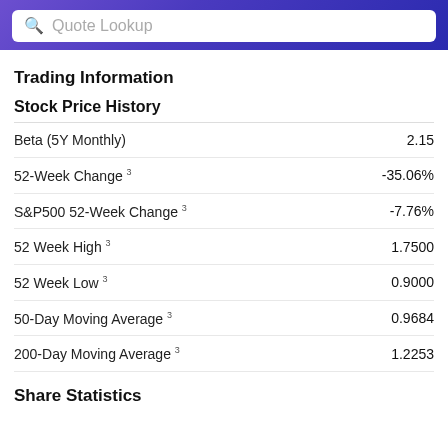Quote Lookup
Trading Information
Stock Price History
| Metric | Value |
| --- | --- |
| Beta (5Y Monthly) | 2.15 |
| 52-Week Change 3 | -35.06% |
| S&P500 52-Week Change 3 | -7.76% |
| 52 Week High 3 | 1.7500 |
| 52 Week Low 3 | 0.9000 |
| 50-Day Moving Average 3 | 0.9684 |
| 200-Day Moving Average 3 | 1.2253 |
Share Statistics